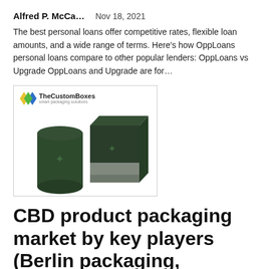Alfred P. McCa…    Nov 18, 2021
The best personal loans offer competitive rates, flexible loan amounts, and a wide range of terms. Here's how OppLoans personal loans compare to other popular lenders: OppLoans vs Upgrade OppLoans and Upgrade are for…
[Figure (photo): TheCustomBoxes branded image showing dark green CBD product packaging — a cylindrical container and a square box with cannabis leaf motifs]
CBD product packaging market by key players (Berlin packaging, Hollingsworth, diamond packaging….